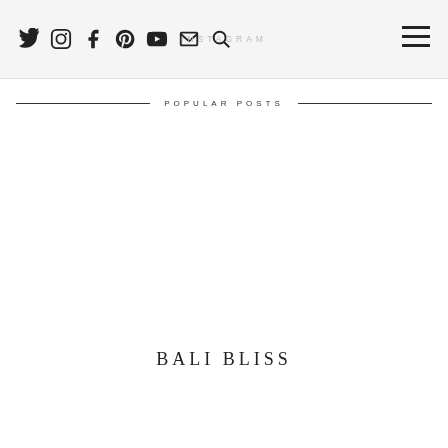Social icons: Twitter, Instagram, Facebook, Pinterest, YouTube, Email, Search | INSTAGRAM | Menu
POPULAR POSTS
[Figure (photo): Image placeholder area for a popular post photo]
BALI BLISS